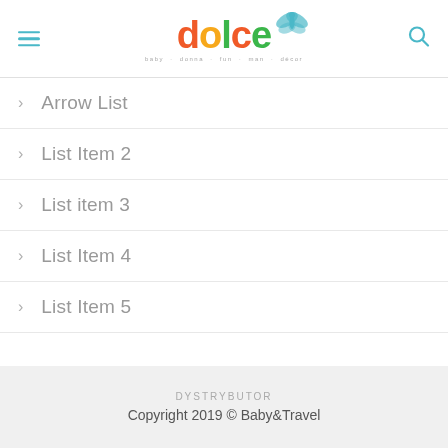dolce — baby · donna · fun · man · décor
Arrow List
List Item 2
List item 3
List Item 4
List Item 5
DYSTRYBUTOR
Copyright 2019 © Baby&Travel